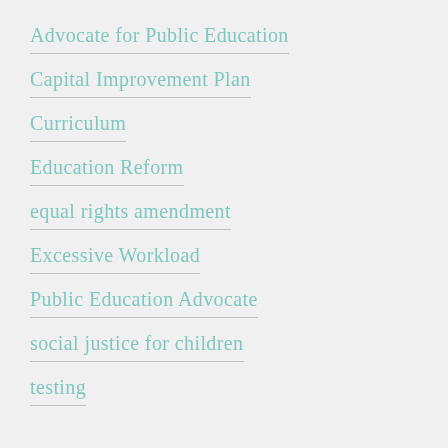Advocate for Public Education
Capital Improvement Plan
Curriculum
Education Reform
equal rights amendment
Excessive Workload
Public Education Advocate
social justice for children
testing